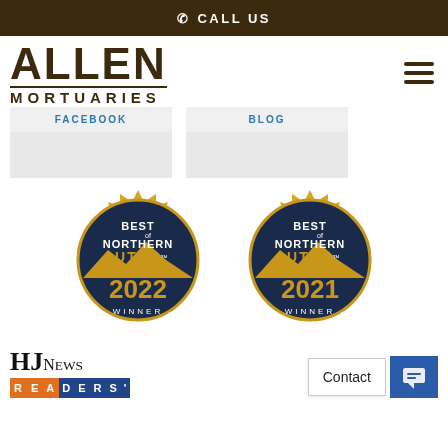CALL US
[Figure (logo): Allen Mortuaries logo with large bold ALLEN text and MORTUARIES subtitle]
FACEBOOK
BLOG
[Figure (illustration): Best of Northern Utah 2022 Winner gold seal badge]
[Figure (illustration): Best of Northern Utah 2021 Winner gold seal badge]
[Figure (logo): HJ News logo with READERS text bar below]
Contact
[Figure (illustration): Blue chat/message button icon]